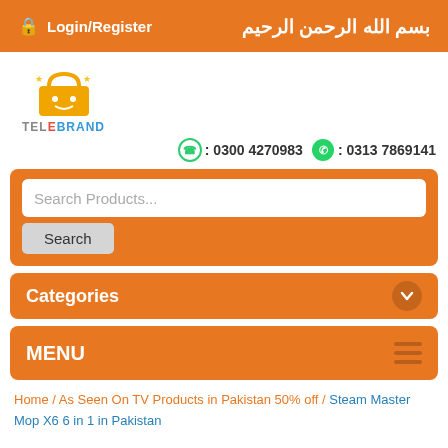🔒 Login/Register   بسم الله الرحمن الرحيم
[Figure (logo): Telebrand logo with shopping bag icon and colorful text]
📞: 0300 4270983  💬: 0313 7869141
Search Products...
Search
Categories
MENU
Home / As Seen On TV Products in Pakistan 50% off / Steam Master Mop X6 6 in 1 in Pakistan